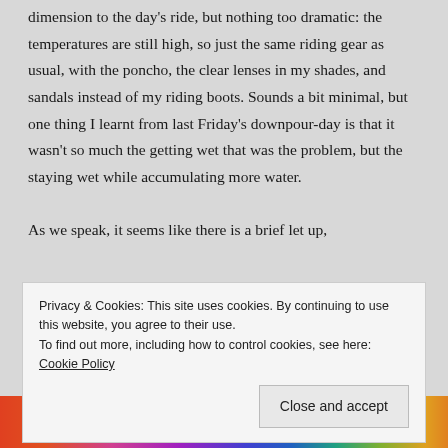dimension to the day's ride, but nothing too dramatic: the temperatures are still high, so just the same riding gear as usual, with the poncho, the clear lenses in my shades, and sandals instead of my riding boots. Sounds a bit minimal, but one thing I learnt from last Friday's downpour-day is that it wasn't so much the getting wet that was the problem, but the staying wet while accumulating more water.

As we speak, it seems like there is a brief let up,
Privacy & Cookies: This site uses cookies. By continuing to use this website, you agree to their use.
To find out more, including how to control cookies, see here: Cookie Policy
Close and accept
[Figure (illustration): Colorful Fandom on Tumblr banner with rainbow gradient background and white bold text reading FANDOM ON tumblr]